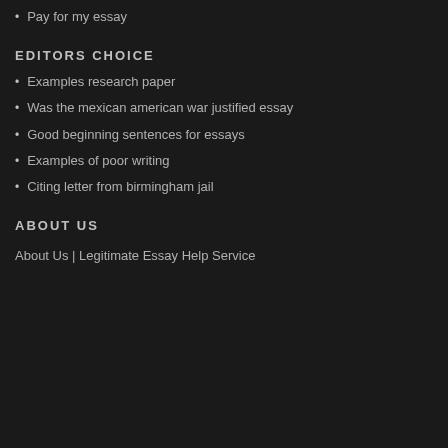Pay for my essay
EDITORS CHOICE
Examples research paper
Was the mexican american war justified essay
Good beginning sentences for essays
Examples of poor writing
Citing letter from birmingham jail
ABOUT US
About Us | Legitimate Essay Help Service